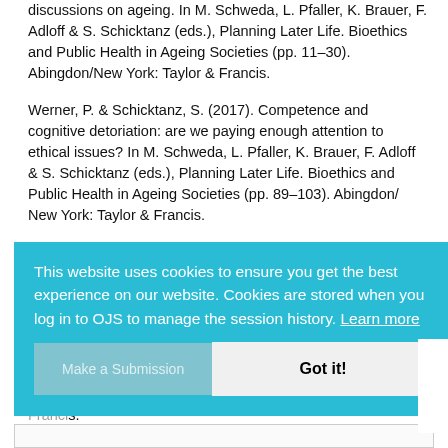discussions on ageing. In M. Schweda, L. Pfaller, K. Brauer, F. Adloff & S. Schicktanz (eds.), Planning Later Life. Bioethics and Public Health in Ageing Societies (pp. 11–30). Abingdon/New York: Taylor & Francis.
Werner, P. & Schicktanz, S. (2017). Competence and cognitive detoriation: are we paying enough attention to ethical issues? In M. Schweda, L. Pfaller, K. Brauer, F. Adloff & S. Schicktanz (eds.), Planning Later Life. Bioethics and Public Health in Ageing Societies (pp. 89–103). Abingdon/ New York: Taylor & Francis.
Yang, Hsiu-I (2017). Opt in or opt out? Rethinking the provision of life-sustaining medical technology to the elderly. In M. Schweda, L. Pfaller, K. Brauer, F. Adloff & S. Schicktanz (eds.), Planning Later Life. Bioethics and Public Health in Ageing Societies (pp. 104–118). Abingdon/New York: Taylor & Francis.
This website uses cookies to ensure you get the best experience on our website. Cookies are stored when you log in to OJS to manage the session history. Learn more
Make a Submission   Got it!